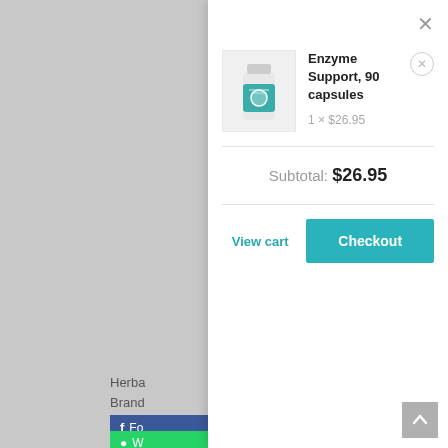[Figure (screenshot): E-commerce shopping cart modal popup showing a product (Enzyme Support, 90 capsules) at 1 × $26.95, subtotal $26.95, with View cart and Checkout buttons. Background shows partially visible product page with Herba/Brand text and social share buttons.]